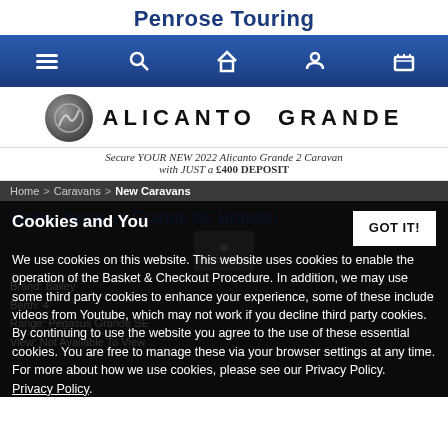Penrose Touring
[Figure (screenshot): Navigation bar with hamburger menu, search, home, account, and cart icons on a blue gradient background]
[Figure (logo): Alicanto Grande logo with circular emblem and text]
Secure YOUR NEW 2022 Alicanto Grande 2 Caravan with JUST a £400 DEPOSIT
Home > Caravans > New Caravans
Bailey Pegasus Grande SE Brindisi
Cookies and You
We use cookies on this website. This website uses cookies to enable the operation of the Basket & Checkout Procedure. In addition, we may use some third party cookies to enhance your experience, some of these include videos from Youtube, which may not work if you decline third party cookies. By continuing to use the website you agree to the use of these essential cookies. You are free to manage these via your browser settings at any time. For more about how we use cookies, please see our Privacy Policy. Privacy Policy.
Brand: Bailey
Berth: 4
Range: Pegasus Grande SE
View: Not Available To View